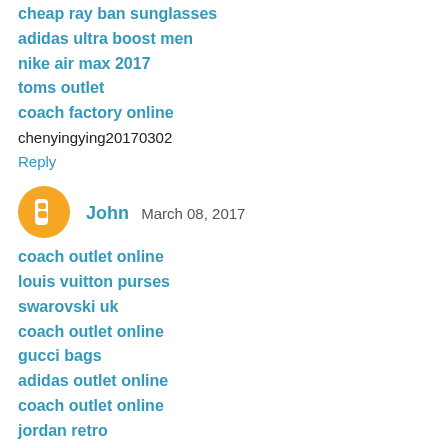cheap ray ban sunglasses
adidas ultra boost men
nike air max 2017
toms outlet
coach factory online
chenyingying20170302
Reply
John  March 08, 2017
coach outlet online
louis vuitton purses
swarovski uk
coach outlet online
gucci bags
adidas outlet online
coach outlet online
jordan retro
cheap nfl jerseys
hollister kids
20170308yuanyuan